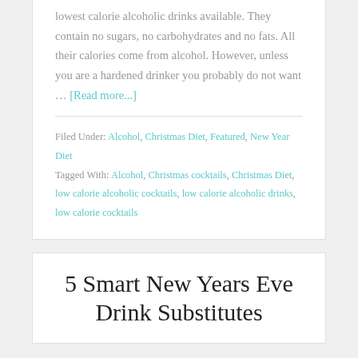lowest calorie alcoholic drinks available. They contain no sugars, no carbohydrates and no fats. All their calories come from alcohol. However, unless you are a hardened drinker you probably do not want … [Read more...]
Filed Under: Alcohol, Christmas Diet, Featured, New Year Diet
Tagged With: Alcohol, Christmas cocktails, Christmas Diet, low calorie alcoholic cocktails, low calorie alcoholic drinks, low calorie cocktails
5 Smart New Years Eve Drink Substitutes